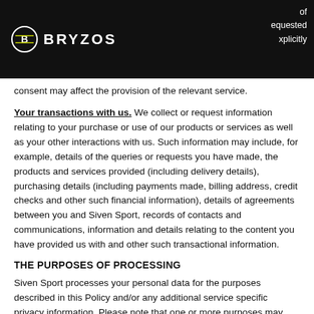BRYZOS — of requested explicitly
consent may affect the provision of the relevant service.
Your transactions with us. We collect or request information relating to your purchase or use of our products or services as well as your other interactions with us. Such information may include, for example, details of the queries or requests you have made, the products and services provided (including delivery details), purchasing details (including payments made, billing address, credit checks and other such financial information), details of agreements between you and Siven Sport, records of contacts and communications, information and details relating to the content you have provided us with and other such transactional information.
THE PURPOSES OF PROCESSING
Siven Sport processes your personal data for the purposes described in this Policy and/or any additional service specific privacy information. Please note that one or more purposes may apply.